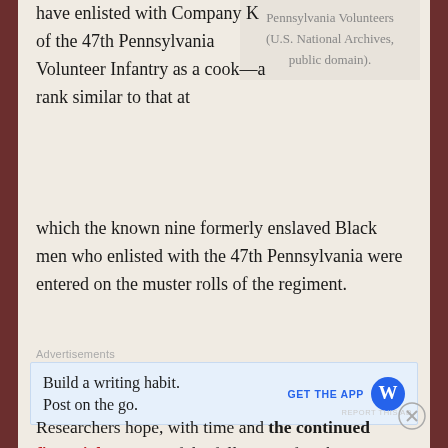have enlisted with Company K of the 47th Pennsylvania Volunteer Infantry as a cook—a rank similar to that at which the known nine formerly enslaved Black men who enlisted with the 47th Pennsylvania were entered on the muster rolls of the regiment.
Pennsylvania Volunteers (U.S. National Archives, public domain).
Advertisements
[Figure (other): Advertisement: Build a writing habit. Post on the go. GET THE APP [WordPress logo]]
Researchers hope, with time and the continued financial support of the followers of 47th
Advertisements
[Figure (other): Victoria's Secret advertisement: SHOP THE COLLECTION - SHOP NOW]